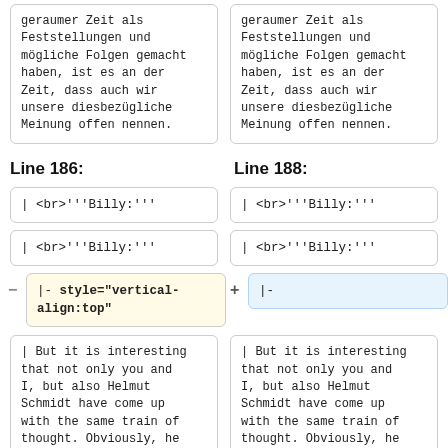geraumer Zeit als Feststellungen und mögliche Folgen gemacht haben, ist es an der Zeit, dass auch wir unsere diesbezügliche Meinung offen nennen.
geraumer Zeit als Feststellungen und mögliche Folgen gemacht haben, ist es an der Zeit, dass auch wir unsere diesbezügliche Meinung offen nennen.
Line 186:
Line 188:
| <br>'''Billy:'''
| <br>'''Billy:'''
| <br>'''Billy:'''
| <br>'''Billy:'''
|- style="vertical-align:top"
|-
| But it is interesting that not only you and I, but also Helmut Schmidt have come up with the same train of thought. Obviously, he is a man who thinks deeply and recognises
| But it is interesting that not only you and I, but also Helmut Schmidt have come up with the same train of thought. Obviously, he is a man who thinks deeply and recognises